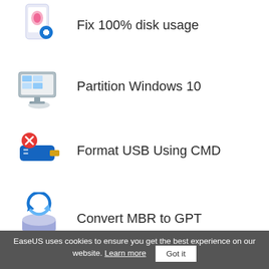Fix 100% disk usage
Partition Windows 10
Format USB Using CMD
Convert MBR to GPT
EaseUS uses cookies to ensure you get the best experience on our website. Learn more  Got it